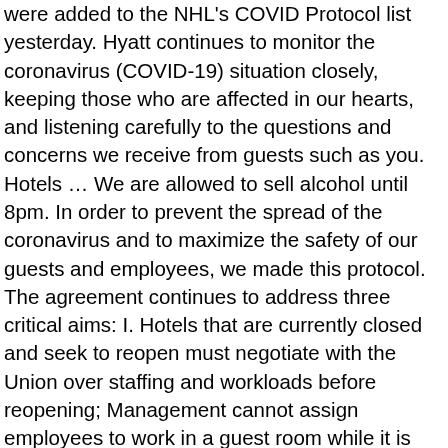were added to the NHL's COVID Protocol list yesterday. Hyatt continues to monitor the coronavirus (COVID-19) situation closely, keeping those who are affected in our hearts, and listening carefully to the questions and concerns we receive from guests such as you. Hotels … We are allowed to sell alcohol until 8pm. In order to prevent the spread of the coronavirus and to maximize the safety of our guests and employees, we made this protocol. The agreement continues to address three critical aims: I. Hotels that are currently closed and seek to reopen must negotiate with the Union over staffing and workloads before reopening; Management cannot assign employees to work in a guest room while it is occupied; Management cannot assign employees to enter an occupied guest room for at least fifteen minutes after the guest has left the room; The hotel must provide HEPA-filtered vacuum cleaners; Vacuums are only to be used on rugs and carpets after that rug or carpet has been disinfected with products approved by the EPA for use against COVID-19; The hotel must maintain vacuum cleaners regularly to minimize how much dust is being dispersed; and. III. It is expected that auditing initiatives will ultimately be implemented to measure hotel compliance with a stated criteria for cleanliness. Conduct daily temperature checks for all employees; Pay for COVID-19 testing and